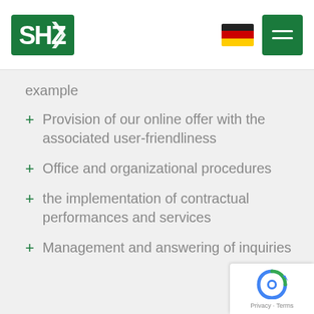[Figure (logo): SHZ company logo — white SHZ letters on green background]
[Figure (illustration): German national flag (black, red, gold stripes)]
[Figure (illustration): Hamburger menu icon — three white lines on green background]
example
Provision of our online offer with the associated user-friendliness
Office and organizational procedures
the implementation of contractual performances and services
Management and answering of inquiries